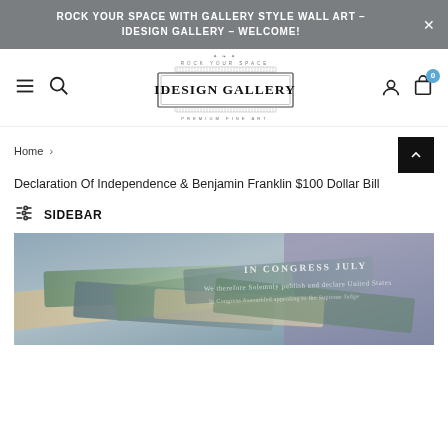ROCK YOUR SPACE WITH GALLERY STYLE WALL ART – IDESIGN GALLERY – WELCOME!
[Figure (logo): iDesign Gallery logo with decorative ornamental border, text: ROCK YOUR SPACE / IDESIGN GALLERY / PREMIUM FINE ART]
Home > Declaration Of Independence & Benjamin Franklin $100 Dollar Bill
SIDEBAR
[Figure (photo): Product photo showing Declaration of Independence artwork overlaid with $100 bills and money, with faint text reading IN CONGRESS JULY and declaration text visible]